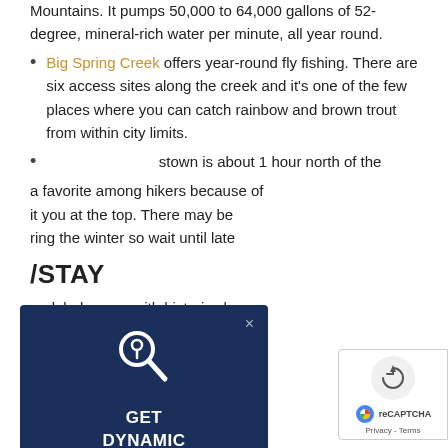Mountains. It pumps 50,000 to 64,000 gallons of 52-degree, mineral-rich water per minute, all year round.
Big Spring Creek offers year-round fly fishing. There are six access sites along the creek and it's one of the few places where you can catch rainbow and brown trout from within city limits.
[partially obscured] ...stown is about 1 hour north of the ... a favorite among hikers because of ... it you at the top. There may be ... ring the winter so wait until late
/STAY
...nodeled rooms with historic charm. ...bodations with 2 restaurants, an
...estled on 80 acres in the Judith ...om Lewistown. The area bo... ...king/walking trails that start...
[Figure (infographic): Modal popup with dark navy background showing a location/search icon, title 'GET DYNAMIC UPDATES', and body text 'Save a custom search on this page & I'll email you instantly when a new listing matches the criteria.' with an X close button.]
[Figure (infographic): reCAPTCHA badge in the bottom right corner showing an arrow circle icon and Google reCAPTCHA logo with Privacy - Terms text.]